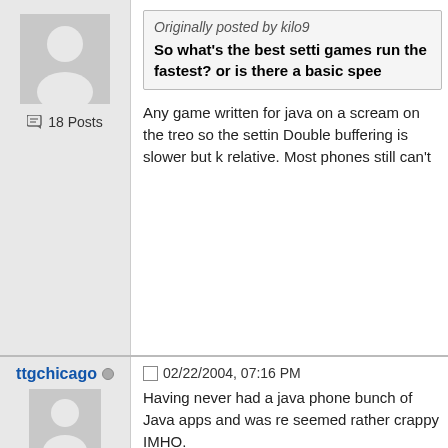[Figure (illustration): Default user avatar silhouette in gray]
18 Posts
Originally posted by kilo9
So what's the best setti games run the fastest? or is there a basic spee
Any game written for java on a scream on the treo so the settin Double buffering is slower but k relative. Most phones still can't
ttgchicago
02/22/2004, 07:16 PM
[Figure (illustration): Default user avatar silhouette in gray]
21 Posts
Having never had a java phone bunch of Java apps and was re seemed rather crappy IMHO.
Aside from MobiTV (I cant see